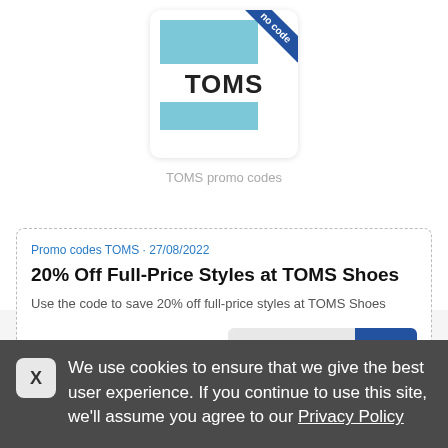[Figure (logo): TOMS brand logo on a light blue background with a diagonal blue ribbon banner in top-right corner with 'no code' text]
TOMS promo codes
Promo codes TOMS • 27/08/2022
20% Off Full-Price Styles at TOMS Shoes
Use the code to save 20% off full-price styles at TOMS Shoes
SHOW CODE  XS20
We use cookies to ensure that we give the best user experience. If you continue to use this site, we'll assume you agree to our Privacy Policy